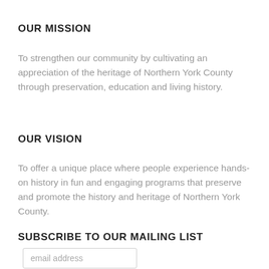OUR MISSION
To strengthen our community by cultivating an appreciation of the heritage of Northern York County through preservation, education and living history.
OUR VISION
To offer a unique place where people experience hands-on history in fun and engaging programs that preserve and promote the history and heritage of Northern York County.
SUBSCRIBE TO OUR MAILING LIST
email address